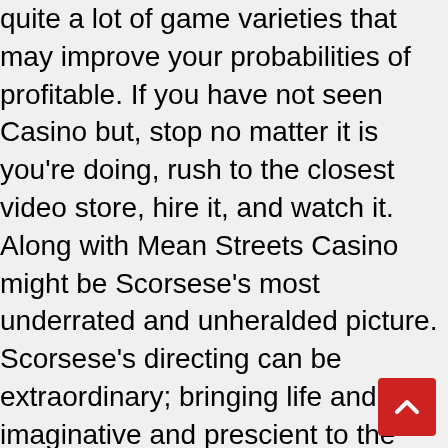quite a lot of game varieties that may improve your probabilities of profitable. If you have not seen Casino but, stop no matter it is you're doing, rush to the closest video store, hire it, and watch it. Along with Mean Streets Casino might be Scorsese's most underrated and unheralded picture. Scorsese's directing can be extraordinary; bringing life and imaginative and prescient to the movie. A tragic tale of ambition gone awry, Casino is a compelling film that is exceptionally well-crafted. GLI provide testing, certification and professional companies to the global gaming industry. The GLI also undertake auditing, field inspections and safety audits, and so they work with gaming regulators, suppliers, and operators, with an aim of guaranteeing the integrity of the gaming industry. Gambling ought to be enjoyable, however it cou very important know the place you'll be able to go for assist if it